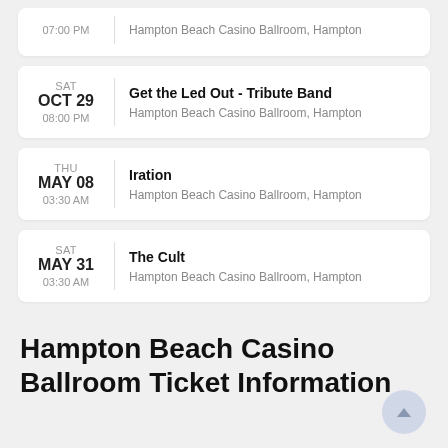07:00 PM | Hampton Beach Casino Ballroom, Hampton
SAT OCT 29 08:00 PM | Get the Led Out - Tribute Band | Hampton Beach Casino Ballroom, Hampton
THU MAY 08 03:30 AM | Iration | Hampton Beach Casino Ballroom, Hampton
SAT MAY 31 03:30 AM | The Cult | Hampton Beach Casino Ballroom, Hampton
Hampton Beach Casino Ballroom Ticket Information